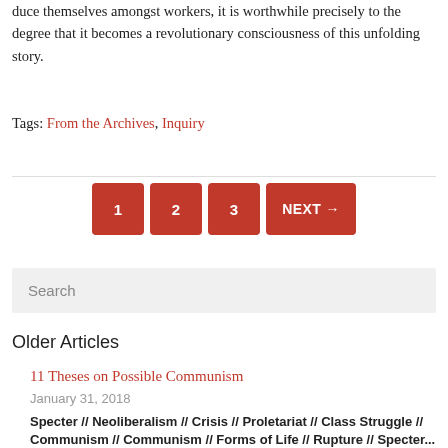duce themselves amongst workers, it is worthwhile precisely to the degree that it becomes a revolutionary consciousness of this unfolding story.
Tags: From the Archives, Inquiry
[Figure (other): Pagination bar with buttons: 1, 2, 3, NEXT →]
Search
Older Articles
11 Theses on Possible Communism
January 31, 2018
Specter // Neoliberalism // Crisis // Proletariat // Class Struggle //
Communism // Communism // Forms of Life // Rupture // Specter...